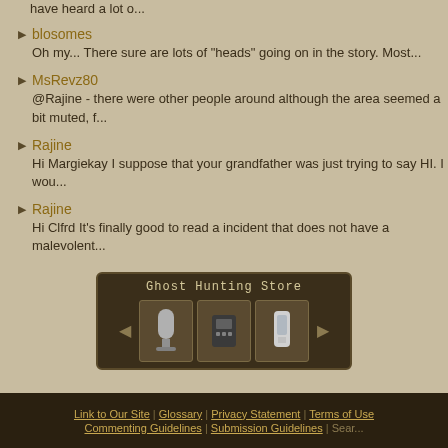have heard a lot o...
blosomes
Oh my... There sure are lots of "heads" going on in the story. Most...
MsRevz80
@Rajine - there were other people around although the area seemed a bit muted, f...
Rajine
Hi Margiekay I suppose that your grandfather was just trying to say HI. I wou...
Rajine
Hi Clfrd It's finally good to read a incident that does not have a malevolent...
[Figure (other): Ghost Hunting Store widget showing three ghost hunting equipment items with navigation arrows]
Link to Our Site | Glossary | Privacy Statement | Terms of Use | Commenting Guidelines | Submission Guidelines | Sear...